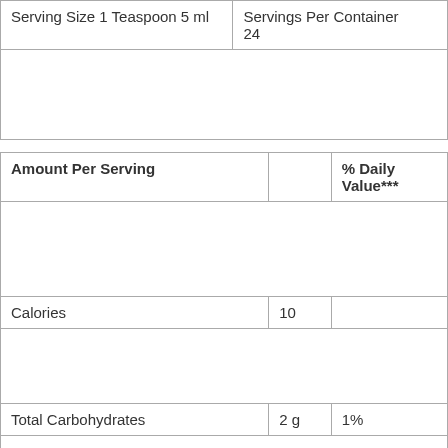| Serving Size 1 Teaspoon 5 ml | Servings Per Container 24 |
| --- | --- |
|  |  |
| Amount Per Serving |  | % Daily Value*** |
| --- | --- | --- |
|  |  |  |
| Calories | 10 |  |
|  |  |  |
| Total Carbohydrates | 2 g | 1% |
|  |  |  |